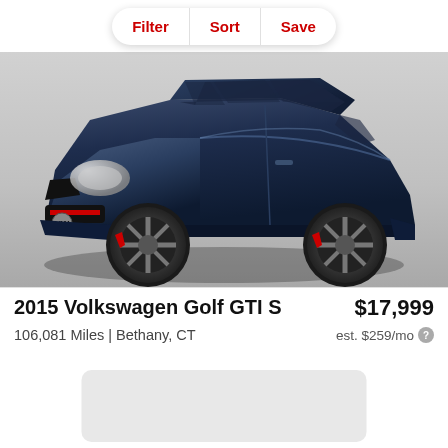Filter | Sort | Save
[Figure (photo): Blue 2015 Volkswagen Golf GTI S hatchback parked indoors against a gray/white curtain background. The car is dark navy blue with red brake calipers visible through the alloy wheels.]
2015 Volkswagen Golf GTI S
$17,999
106,081 Miles | Bethany, CT
est. $259/mo
[Figure (other): Gray placeholder card at the bottom of the listing page]